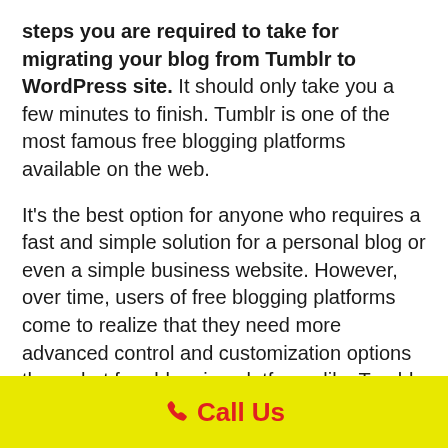steps you are required to take for migrating your blog from Tumblr to WordPress site. It should only take you a few minutes to finish. Tumblr is one of the most famous free blogging platforms available on the web.
It's the best option for anyone who requires a fast and simple solution for a personal blog or even a simple business website. However, over time, users of free blogging platforms come to realize that they need more advanced control and customization options than what free blogging platforms like Tumblr have to offer. So let's have a brief look:-
Call Us